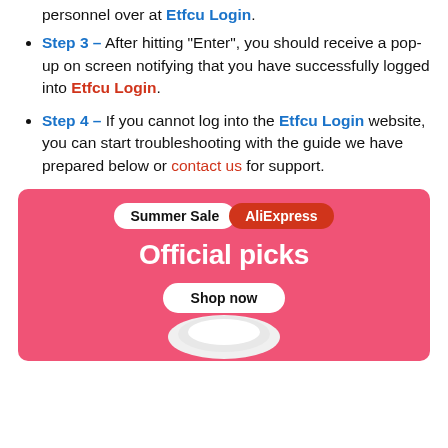personnel over at Etfcu Login.
Step 3 – After hitting "Enter", you should receive a pop-up on screen notifying that you have successfully logged into Etfcu Login.
Step 4 – If you cannot log into the Etfcu Login website, you can start troubleshooting with the guide we have prepared below or contact us for support.
[Figure (infographic): AliExpress Summer Sale advertisement banner with pink background, 'Summer Sale' and 'AliExpress' pills, 'Official picks' heading, 'Shop now' button, and a white robotic vacuum cleaner product image at the bottom.]